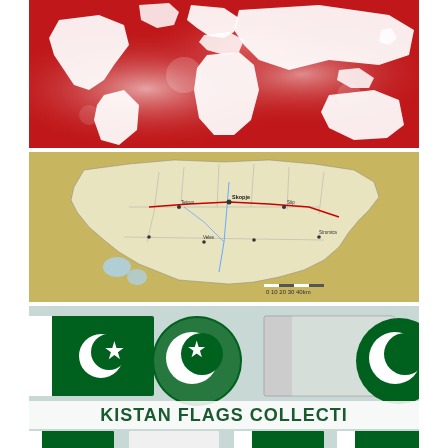[Figure (map): Red and white stylized world map illustration with bright light glare effects on a vivid red background, showing white continent silhouettes]
[Figure (map): Detailed political/road map of Macedonia (North Macedonia) on a golden/tan background, showing regions, roads, cities and a scale bar]
[Figure (illustration): Pakistan flags collection showing multiple Pakistan flag variants (rectangular and circular/badge forms) on a light blue-grey background, with text reading 'KISTAN FLAGS COLLECTI' (Pakistan Flags Collection)]